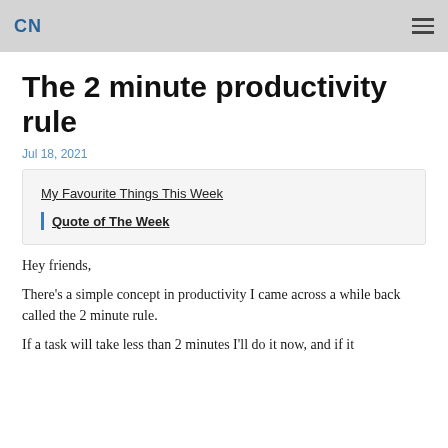CN
The 2 minute productivity rule
Jul 18, 2021
My Favourite Things This Week
Quote of The Week
Hey friends,
There's a simple concept in productivity I came across a while back called the 2 minute rule.
If a task will take less than 2 minutes I'll do it now, and if it